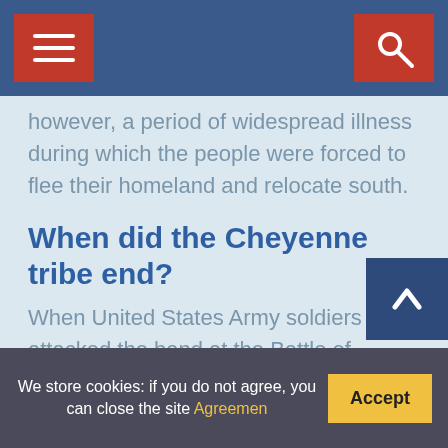Navigation bar with menu and search buttons
however, a period of widespread illness during which the people were forced to flee their homeland and relocate south.
When did the Cheyenne tribe end?
When United States Army soldiers attacked the band at the Battle of Summit Springs in 1867, a large portion of the band was slain. A growing rift developed between the Dog Soldiers and the council leaders over policy toward whites, and the Dog Soldiers were forced to withdraw from the other Cheyenne bands as a result.
What did the Cheyenne tribe do for fun
We store cookies: if you do not agree, you can close the site Agreemen
We store cookies: if you do not agree, you can close the site Agreemen | Accept